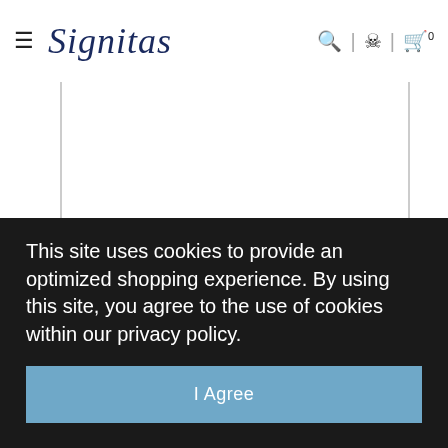Signitas — navigation bar with hamburger menu, logo, search, account, and cart icons
[Figure (screenshot): White product image area with left and right borders, content not visible]
This site uses cookies to provide an optimized shopping experience. By using this site, you agree to the use of cookies within our privacy policy.
I Agree